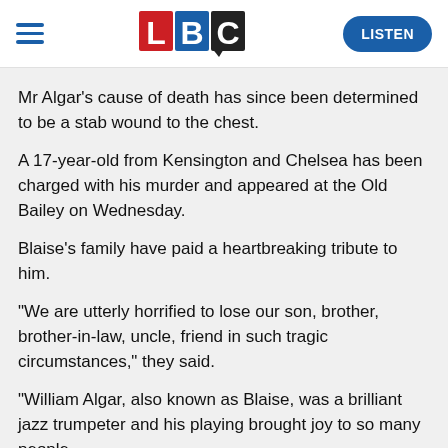LBC | LISTEN
Mr Algar's cause of death has since been determined to be a stab wound to the chest.
A 17-year-old from Kensington and Chelsea has been charged with his murder and appeared at the Old Bailey on Wednesday.
Blaise's family have paid a heartbreaking tribute to him.
"We are utterly horrified to lose our son, brother, brother-in-law, uncle, friend in such tragic circumstances," they said.
"William Algar, also known as Blaise, was a brilliant jazz trumpeter and his playing brought joy to so many people.
"He was also a very vulnerable man.